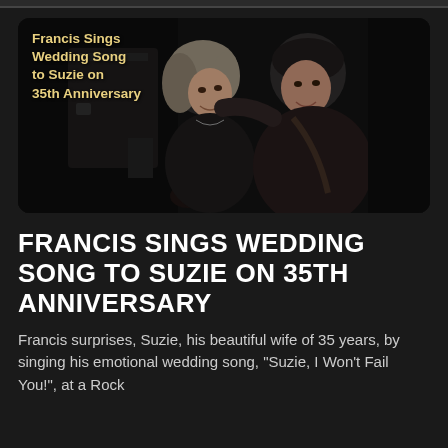[Figure (photo): A couple smiling and leaning toward each other in a dark setting. The man holds a guitar. Text overlay reads: 'Francis Sings Wedding Song to Suzie on 35th Anniversary']
FRANCIS SINGS WEDDING SONG TO SUZIE ON 35TH ANNIVERSARY
Francis surprises, Suzie, his beautiful wife of 35 years, by singing his emotional wedding song, "Suzie, I Won't Fail You!", at a Rock